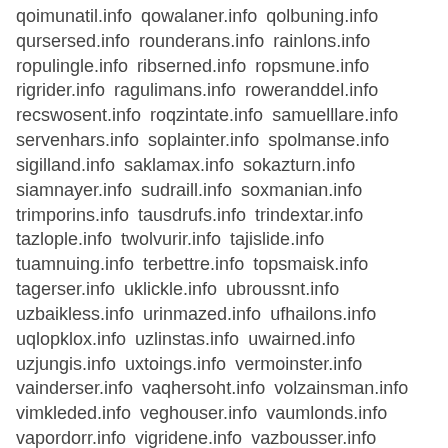qoimunatil.info qowalaner.info qolbuning.info qursersed.info rounderans.info rainlons.info ropulingle.info ribserned.info ropsmune.info rigrider.info ragulimans.info roweranddel.info recswosent.info roqzintate.info samuelllare.info servenhars.info soplainter.info spolmanse.info sigilland.info saklamax.info sokazturn.info siamnayer.info sudraill.info soxmanian.info trimporins.info tausdrufs.info trindextar.info tazlople.info twolvurir.info tajislide.info tuamnuing.info terbettre.info topsmaisk.info tagerser.info uklickle.info ubroussnt.info uzbaikless.info urinmazed.info ufhailons.info uqlopklox.info uzlinstas.info uwairned.info uzjungis.info uxtoings.info vermoinster.info vainderser.info vaqhersoht.info volzainsman.info vimkleded.info veghouser.info vaumlonds.info vapordorr.info vigridene.info vazbousser.info waissjoin.info wenddousten.info wazxoling.info winggredded.info wreiddrair.info wolfloxed.info wikilomonis.info wijlozans.info waspleded.info winderansil.info xaiklocer.info xlondefed.info xlingherr.info xoplawins.info xazpodarins.info xecroilay.info xapqoll.info xerdavile.info